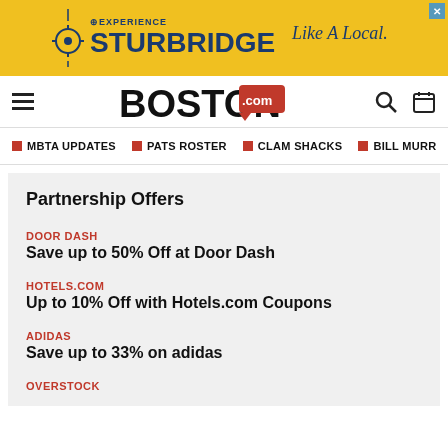[Figure (other): Experience Sturbridge Like A Local advertisement banner in yellow/gold with blue text and logo]
BOSTON.com
MBTA UPDATES
PATS ROSTER
CLAM SHACKS
BILL MURR
Partnership Offers
DOOR DASH
Save up to 50% Off at Door Dash
HOTELS.COM
Up to 10% Off with Hotels.com Coupons
ADIDAS
Save up to 33% on adidas
OVERSTOCK